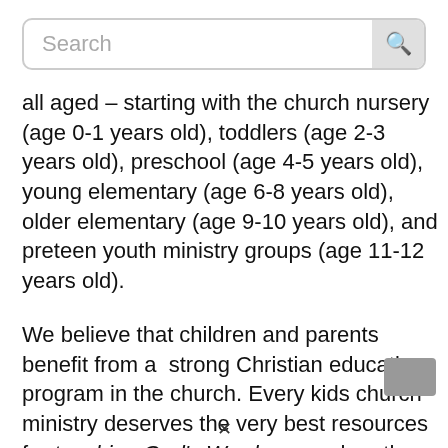Search
all aged – starting with the church nursery (age 0-1 years old), toddlers (age 2-3 years old), preschool (age 4-5 years old), young elementary (age 6-8 years old), older elementary (age 9-10 years old), and preteen youth ministry groups (age 11-12 years old).
We believe that children and parents benefit from a strong Christian education program in the church. Every kids church ministry deserves the very best resources for teaching God's Word, even when they don't have the financial